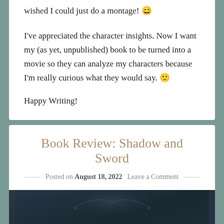wished I could just do a montage! 😄
I've appreciated the character insights. Now I want my (as yet, unpublished) book to be turned into a movie so they can analyze my characters because I'm really curious what they would say. 🙂
Happy Writing!
Book Review: Shadow and Sword
Posted on August 18, 2022  Leave a Comment
[Figure (photo): Book cover image for 'The Chronicles' — dark blue-green textured background with ornamental floral design and gold text reading 'THE CHRONICLES' at the bottom center]